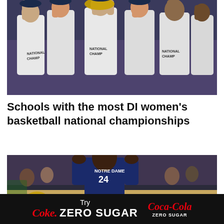[Figure (photo): Women's basketball team celebrating with trophy, arms raised, wearing white national championship t-shirts]
Schools with the most DI women's basketball national championships
[Figure (photo): Notre Dame women's basketball player #24 celebrating on court with crowd in background]
Try Coke. ZERO SUGAR — Coca-Cola ZERO SUGAR advertisement banner